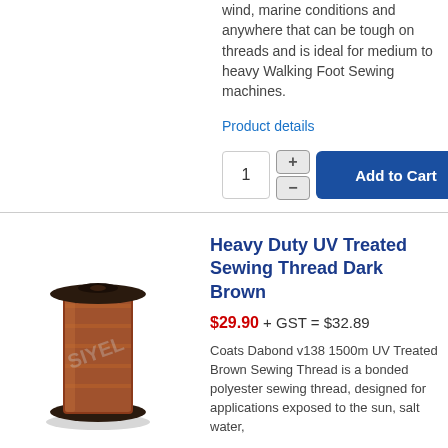wind, marine conditions and anywhere that can be tough on threads and is ideal for medium to heavy Walking Foot Sewing machines.
Product details
[Figure (illustration): Thread spool quantity selector with +/- buttons and Add to Cart blue button]
[Figure (photo): Brown thread spool product image with watermark]
Heavy Duty UV Treated Sewing Thread Dark Brown
$29.90 + GST = $32.89
Coats Dabond v138 1500m UV Treated Brown Sewing Thread is a bonded polyester sewing thread, designed for applications exposed to the sun, salt water,